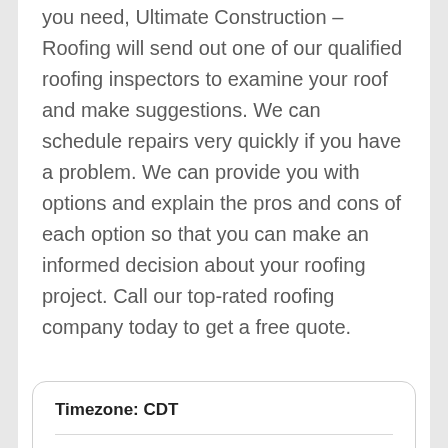you need, Ultimate Construction – Roofing will send out one of our qualified roofing inspectors to examine your roof and make suggestions. We can schedule repairs very quickly if you have a problem. We can provide you with options and explain the pros and cons of each option so that you can make an informed decision about your roofing project. Call our top-rated roofing company today to get a free quote.
|  |  |
| --- | --- |
| Timezone: CDT |  |
| Monday | 07:00 AM - 05:00 PM |
| Tuesday | 07:00 AM - 05:00 PM |
| Wednesday | 07:00 AM - 05:00 PM |
| Thursday | 07:00 AM - 05:00 PM |